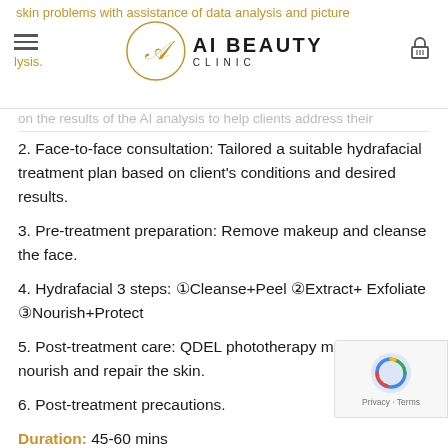AI BEAUTY CLINIC
skin problems with assistance of data analysis and picture analysis.
2. Face-to-face consultation: Tailored a suitable hydrafacial treatment plan based on client's conditions and desired results.
3. Pre-treatment preparation: Remove makeup and cleanse the face.
4. Hydrafacial 3 steps: ①Cleanse+Peel ②Extract+ Exfoliate ③Nourish+Protect
5. Post-treatment care: QDEL phototherapy mask to nourish and repair the skin.
6. Post-treatment precautions.
Duration: 45-60 mins